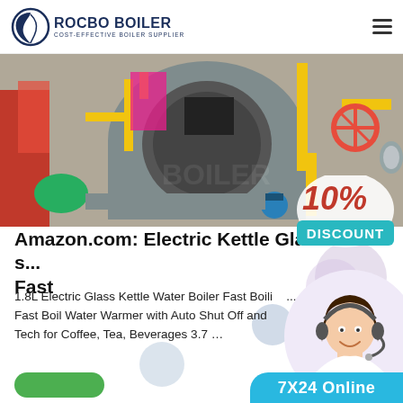ROCBO BOILER — COST-EFFECTIVE BOILER SUPPLIER
[Figure (photo): Industrial gas boilers with yellow pipes and valves in a factory setting, with a 10% DISCOUNT badge overlaid in the lower right]
Amazon.com: Electric Kettle Glass... Fast
1.8L Electric Glass Kettle Water Boiler Fast Boili... Fast Boil Water Warmer with Auto Shut Off and Tech for Coffee, Tea, Beverages 3.7 …
[Figure (photo): Customer service woman with headset smiling, with decorative bubbles and 7X24 Online banner at the bottom]